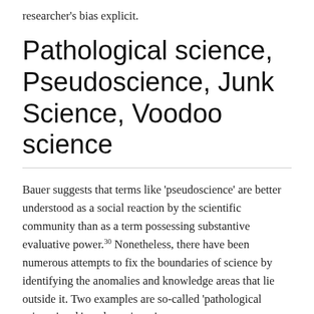researcher's bias explicit.
Pathological science, Pseudoscience, Junk Science, Voodoo science
Bauer suggests that terms like ‘pseudoscience’ are better understood as a social reaction by the scientific community than as a term possessing substantive evaluative power.³⁰ Nonetheless, there have been numerous attempts to fix the boundaries of science by identifying the anomalies and knowledge areas that lie outside it. Two examples are so-called ‘pathological science’ and ‘voodoo science’.
‘Pathological science’ is a phrase coined by Irving Langmuir. Langmuir suggested six features of pathological science.³¹